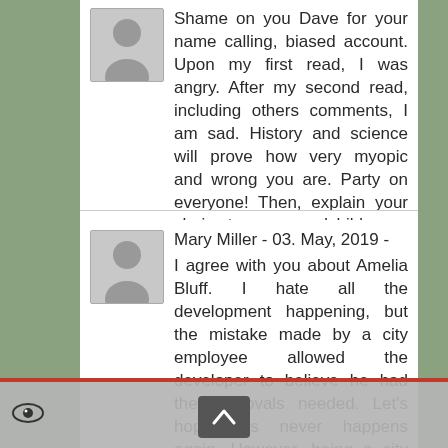Shame on you Dave for your name calling, biased account. Upon my first read, I was angry. After my second read, including others comments, I am sad. History and science will prove how very myopic and wrong you are. Party on everyone! Then, explain your choice to your grandchildren.
Mary Miller - 03. May, 2019 -
I agree with you about Amelia Bluff. I hate all the development happening, but the mistake made by a city employee allowed the developer to believe he had the approvals needed. Let's hope this never happens again. However, being a city taxpayer for over 35 years, I have seen the City lose too many legal battles and would not look forward to wasting tax dollars on legal fees again. The high density condos being developed in the downtown area is 10